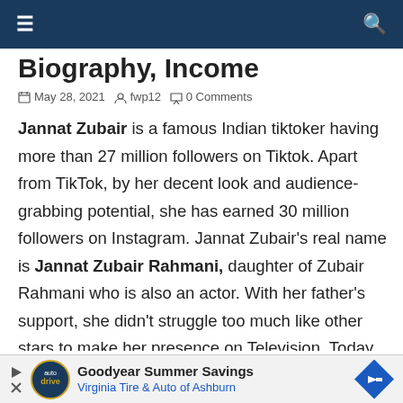≡  [navigation bar]  🔍
Biography, Income
May 28, 2021   fwp12   0 Comments
Jannat Zubair is a famous Indian tiktoker having more than 27 million followers on Tiktok. Apart from TikTok, by her decent look and audience-grabbing potential, she has earned 30 million followers on Instagram. Jannat Zubair's real name is Jannat Zubair Rahmani, daughter of Zubair Rahmani who is also an actor. With her father's support, she didn't struggle too much like other stars to make her presence on Television. Today Lets discuss Jannat Zubair Net Worth, Age
[Figure (infographic): Advertisement banner for Goodyear Summer Savings - Virginia Tire & Auto of Ashburn with logo and diamond arrow icon]